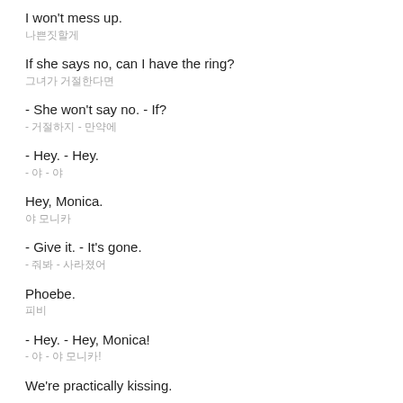I won't mess up.
나쁜짓할게
If she says no, can I have the ring?
그녀가 거절한다면
- She won't say no. - If?
- 거절하지 - 만약에
- Hey. - Hey.
- 야 - 야
Hey, Monica.
야 모니카
- Give it. - It's gone.
- 줘봐 - 사라졌어
Phoebe.
피비
- Hey. - Hey, Monica!
- 야 - 야 모니카!
We're practically kissing.